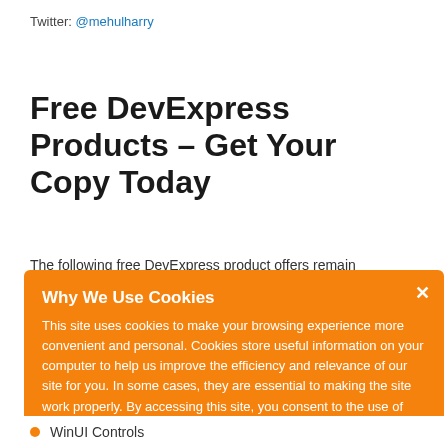Twitter: @mehulharry
Free DevExpress Products – Get Your Copy Today
The following free DevExpress product offers remain available. Should you have any questions about the free offers below, please
Why We Use Cookies
This site uses cookies to make your browsing experience more convenient and personal. Cookies store useful information on your computer to help us improve the efficiency and relevance of our site for you. In some cases, they are essential to making the site work properly. By accessing this site, you consent to the use of cookies. For more information, refer to DevExpress' privacy policy and cookie policy.
I UNDERSTAND
WinUI Controls